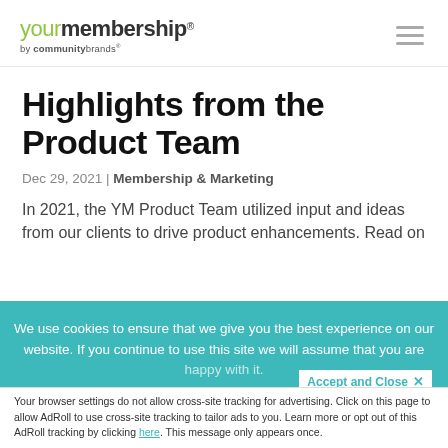yourmembership by communitybrands
Highlights from the Product Team
Dec 29, 2021 | Membership & Marketing
In 2021, the YM Product Team utilized input and ideas from our clients to drive product enhancements. Read on
We use cookies to ensure that we give you the best experience on our website. If you continue to use this site we will assume that you are happy with it.
Accept and Close ✕
Your browser settings do not allow cross-site tracking for advertising. Click on this page to allow AdRoll to use cross-site tracking to tailor ads to you. Learn more or opt out of this AdRoll tracking by clicking here. This message only appears once.